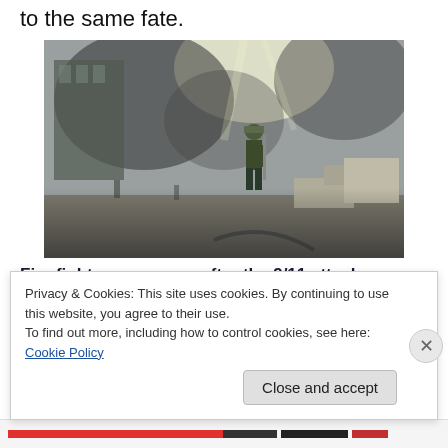to the same fate.
[Figure (photo): Firefighter on scene amid smoke, rubble and debris after the 9/11 attack on the World Trade Center]
Fire fighters on scene after the 9/11 attack.
Privacy & Cookies: This site uses cookies. By continuing to use this website, you agree to their use.
To find out more, including how to control cookies, see here: Cookie Policy
Close and accept